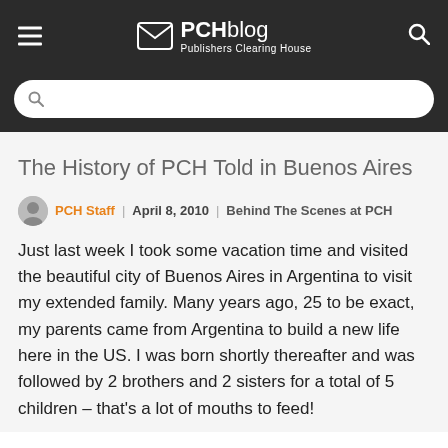PCHblog Publishers Clearing House
The History of PCH Told in Buenos Aires
PCH Staff | April 8, 2010 | Behind The Scenes at PCH
Just last week I took some vacation time and visited the beautiful city of Buenos Aires in Argentina to visit my extended family. Many years ago, 25 to be exact, my parents came from Argentina to build a new life here in the US. I was born shortly thereafter and was followed by 2 brothers and 2 sisters for a total of 5 children – that's a lot of mouths to feed!